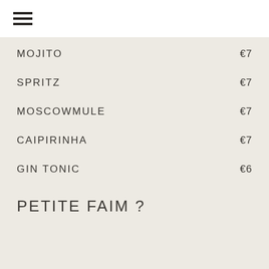☰
MOJITO €7
SPRITZ €7
MOSCOWMULE €7
CAIPIRINHA €7
GIN TONIC €6
PETITE FAIM ?